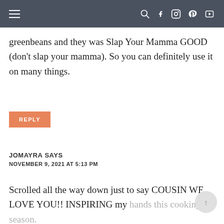≡ [search] [facebook] [instagram] [pinterest] [youtube]
greenbeans and they was Slap Your Mamma GOOD (don't slap your mamma). So you can definitely use it on many things.
REPLY
JOMAYRA SAYS
NOVEMBER 9, 2021 AT 5:13 PM
Scrolled all the way down just to say COUSIN WE LOVE YOU!! INSPIRING my hands this cooking season.